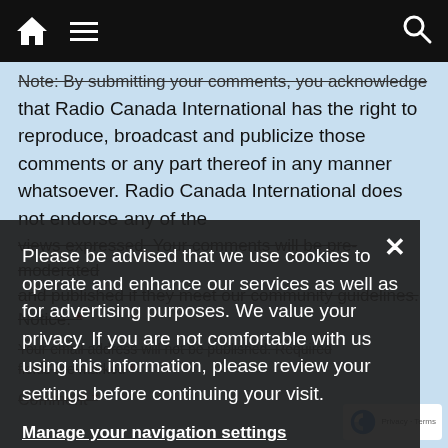Navigation bar with home, menu (hamburger), and search icons
Note: By submitting your comments, you acknowledge that Radio Canada International has the right to reproduce, broadcast and publicize those comments or any part thereof in any manner whatsoever. Radio Canada International does not endorse any of the views expressed. Your comments will be pre-moderated and published if they meet our community guidelines. Notice: *
Your email address will not be published. Required fields are marked *
Comment *
Please be advised that we use cookies to operate and enhance our services as well as for advertising purposes. We value your privacy. If you are not comfortable with us using this information, please review your settings before continuing your visit.
Manage your navigation settings
Find out more